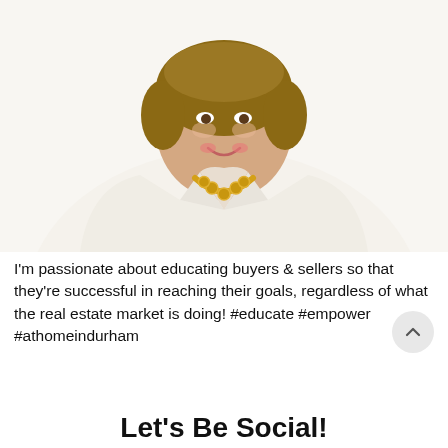[Figure (photo): Professional headshot of a woman wearing a white blazer and gold chain necklace, smiling, upper body visible against white background]
I'm passionate about educating buyers & sellers so that they're successful in reaching their goals, regardless of what the real estate market is doing! #educate #empower #athomeindurham
Let's Be Social!